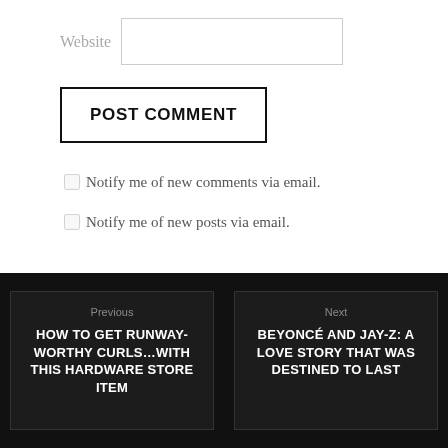Website
POST COMMENT
Notify me of new comments via email.
Notify me of new posts via email.
Previous
HOW TO GET RUNWAY-WORTHY CURLS…WITH THIS HARDWARE STORE ITEM
Next
BEYONCÉ AND JAY-Z: A LOVE STORY THAT WAS DESTINED TO LAST